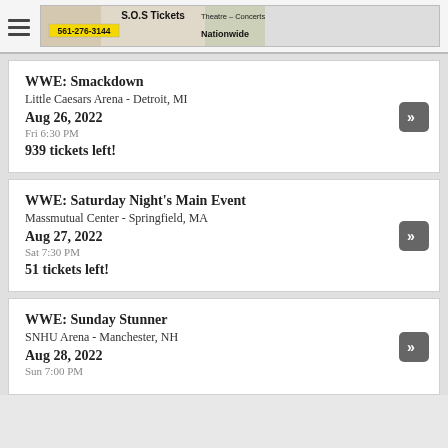[Figure (infographic): S.O.S Tickets banner advertisement. Text reads: S.O.S Tickets - Theatre - Concerts - Sporting Events - Nationwide. Phone number 561-276-3144.]
WWE: Smackdown
Little Caesars Arena - Detroit, MI
Aug 26, 2022
Fri 6:30 PM
939 tickets left!
WWE: Saturday Night's Main Event
Massmutual Center - Springfield, MA
Aug 27, 2022
Sat 7:30 PM
51 tickets left!
WWE: Sunday Stunner
SNHU Arena - Manchester, NH
Aug 28, 2022
Sun 7:00 PM